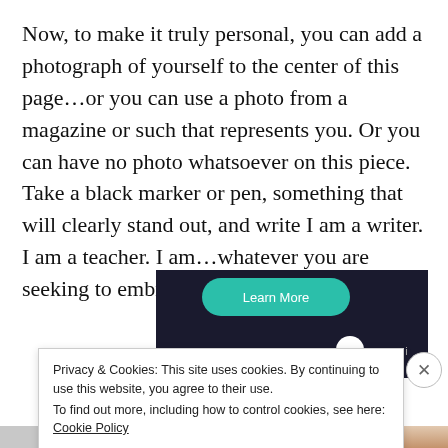Now, to make it truly personal, you can add a photograph of yourself to the center of this page…or you can use a photo from a magazine or such that represents you.  Or you can have no photo whatsoever on this piece.  Take a black marker or pen, something that will clearly stand out, and write I am a writer.  I am a teacher.  I am…whatever you are seeking to embrace.
[Figure (screenshot): Dark advertisement banner with a teal 'Learn More' button and a partial sensei logo]
Privacy & Cookies: This site uses cookies. By continuing to use this website, you agree to their use.
To find out more, including how to control cookies, see here: Cookie Policy
Close and accept